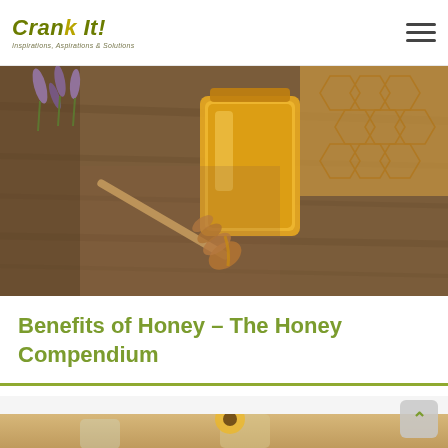Crank It! — Inspirations, Aspirations & Solutions
[Figure (photo): Honey jar with honey dipper on a wooden board, with honeycomb and lavender flowers in the background]
Benefits of Honey – The Honey Compendium
[Figure (photo): Glass jars of honey with a yellow sunflower and burlap sack on a warm beige background]